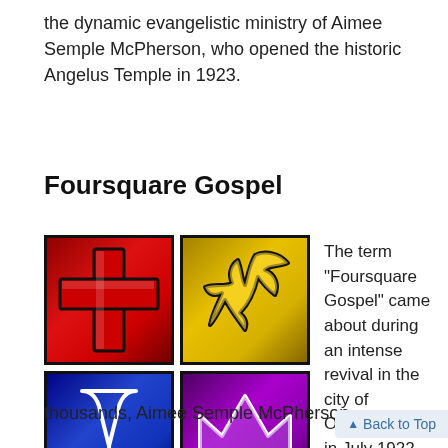the dynamic evangelistic ministry of Aimee Semple McPherson, who opened the historic Angelus Temple in 1923.
Foursquare Gospel
[Figure (illustration): Four colored square icons representing the Foursquare Gospel: red square with a cross (top-left), yellow square with a dove (top-right), blue square with a chalice/cup (bottom-left), purple square with a crown (bottom-right)]
The term “Foursquare Gospel” came about during an intense revival in the city of Oakland, CA., in July 1922. To a crowd of
thousands, Aimee Semple McPherson
Back to Top